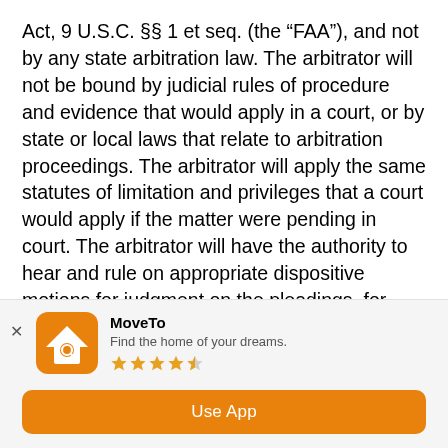Act, 9 U.S.C. §§ 1 et seq. (the “FAA”), and not by any state arbitration law. The arbitrator will not be bound by judicial rules of procedure and evidence that would apply in a court, or by state or local laws that relate to arbitration proceedings. The arbitrator will apply the same statutes of limitation and privileges that a court would apply if the matter were pending in court. The arbitrator will have the authority to hear and rule on appropriate dispositive motions for judgment on the pleadings, for failure to state a claim, or for full or partial summary judgment. In determining liability or
[Figure (other): Mobile app advertisement banner for 'MoveTo' app with house/search icon, star rating (4 out of 5 stars), tagline 'Find the home of your dreams.' and an orange 'Use App' button.]